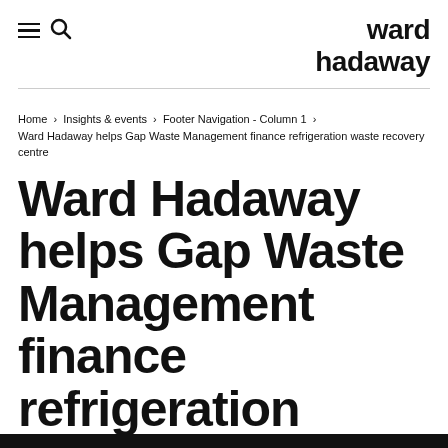ward hadaway
Home › Insights & events › Footer Navigation - Column 1 › Ward Hadaway helps Gap Waste Management finance refrigeration waste recovery centre
Ward Hadaway helps Gap Waste Management finance refrigeration waste recovery centre